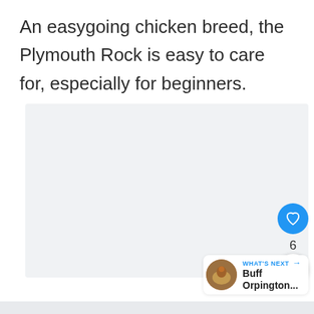An easygoing chicken breed, the Plymouth Rock is easy to care for, especially for beginners.
[Figure (photo): Light gray placeholder image box with three dot indicators at the bottom center, representing a photo carousel of a Plymouth Rock chicken.]
6
WHAT'S NEXT → Buff Orpington...